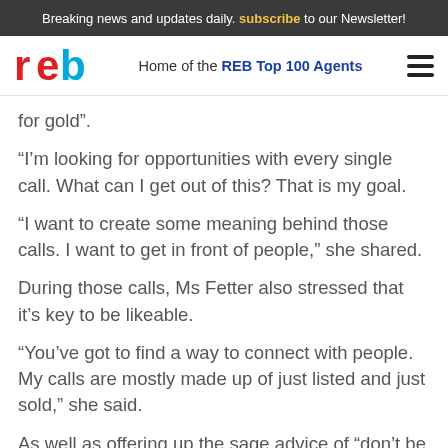Breaking news and updates daily. subscribe to our Newsletter!
[Figure (logo): REB logo - red and blue letters 'reb']
Home of the REB Top 100 Agents
for gold”.
“I’m looking for opportunities with every single call. What can I get out of this? That is my goal.
“I want to create some meaning behind those calls. I want to get in front of people,” she shared.
During those calls, Ms Fetter also stressed that it’s key to be likeable.
“You’ve got to find a way to connect with people. My calls are mostly made up of just listed and just sold,” she said.
As well as offering up the sage advice of “don’t be a dick head”, Ms Fetter said it’s important to get a